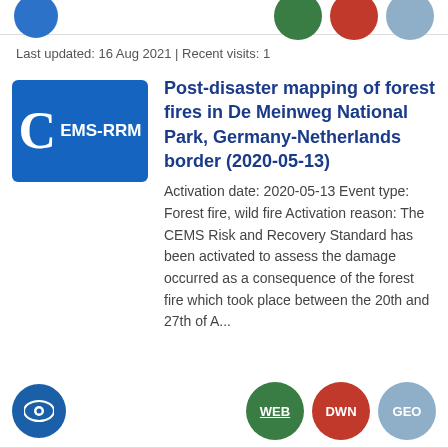[Top navigation icons: blue circle icon left, green/red/light-blue circle buttons right]
Last updated: 16 Aug 2021 | Recent visits: 1
[Figure (logo): Blue rectangle with large white letter C and white text EMS-RRM]
Post-disaster mapping of forest fires in De Meinweg National Park, Germany-Netherlands border (2020-05-13)
Activation date: 2020-05-13 Event type: Forest fire, wild fire Activation reason: The CEMS Risk and Recovery Standard has been activated to assess the damage occurred as a consequence of the forest fire which took place between the 20th and 27th of A...
[Figure (logo): Blue circle with eye icon]
WEB  DWN  GEO